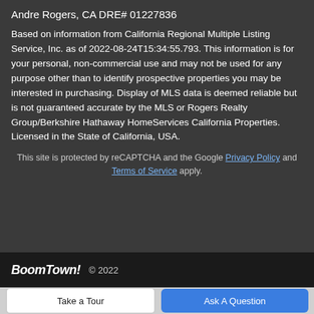Andre Rogers, CA DRE# 01227836
Based on information from California Regional Multiple Listing Service, Inc. as of 2022-08-24T15:34:55.793. This information is for your personal, non-commercial use and may not be used for any purpose other than to identify prospective properties you may be interested in purchasing. Display of MLS data is deemed reliable but is not guaranteed accurate by the MLS or Rogers Realty Group/Berkshire Hathaway HomeServices California Properties. Licensed in the State of California, USA.
This site is protected by reCAPTCHA and the Google Privacy Policy and Terms of Service apply.
BoomTown! © 2022
Take a Tour
Ask A Question